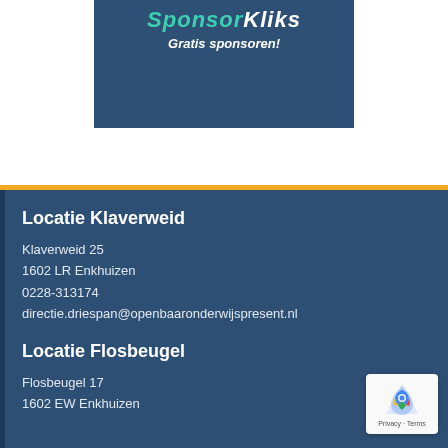[Figure (logo): SponsorKliks banner with dark blue background and italic white/teal text 'SponsorKliks' and subtitle 'Gratis sponsoren!']
Locatie Klaverweid
Klaverweid 25
1602 LR Enkhuizen
0228-313174
directie.driespan@openbaaronderwijspresent.nl
Locatie Flosbeugel
Flosbeugel 17
1602 EW Enkhuizen